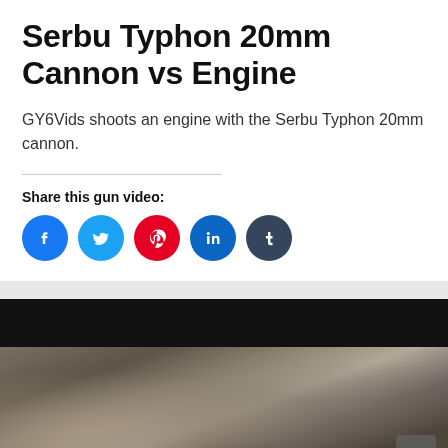Serbu Typhon 20mm Cannon vs Engine
GY6Vids shoots an engine with the Serbu Typhon 20mm cannon.
Share this gun video:
[Figure (infographic): Five social media share buttons: Facebook (blue), Twitter (light blue), Pinterest (red), LinkedIn (blue), Tumblr (dark navy)]
[Figure (photo): Dark and smoky outdoor scene showing ground/debris, with a black bar at top and grey bar above that. A scroll-to-top button appears in the bottom right corner.]